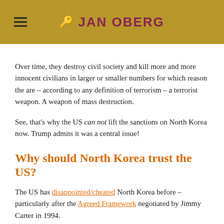JAN OBERG
Over time, they destroy civil society and kill more and more innocent civilians in larger or smaller numbers for which reason the are – according to any definition of terrorism – a terrorist weapon. A weapon of mass destruction.
See, that's why the US can not lift the sanctions on North Korea now. Trump admits it was a central issue!
Why should North Korea trust the US?
The US has disappointed/cheated North Korea before – particularly after the Agreed Framework negotiated by Jimmy Carter in 1994.
The US has withdrawn from the most important deal about nuclear weapons, the JCPOA with Iran – while Iran has kept its promises point by